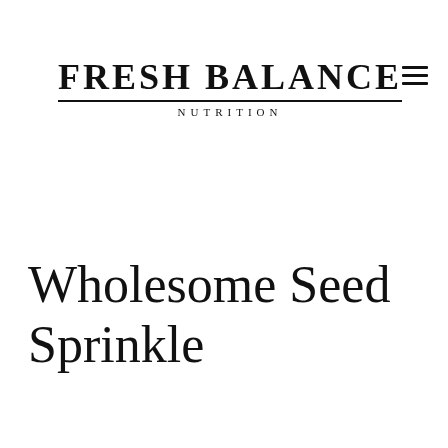Fresh Balance Nutrition
Wholesome Seed Sprinkle